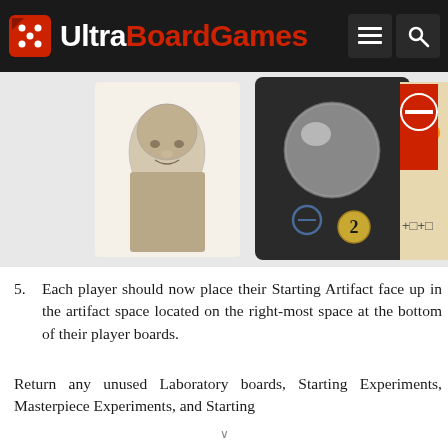UltraBoardGames
[Figure (photo): Three game card images side by side: a sketch of a historical figure, a dark card with a glass orb and circular symbol numbered 2, and a card with fire/no-entry symbols plus two cube icons on a beige background.]
5. Each player should now place their Starting Artifact face up in the artifact space located on the right-most space at the bottom of their player boards.
Return any unused Laboratory boards, Starting Experiments, Masterpiece Experiments, and Starting